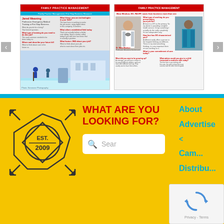[Figure (screenshot): Screenshot of a magazine article carousel showing two magazine thumbnails side by side with navigation arrows. Left thumbnail shows a person with red header, ice skating scene below. Right thumbnail shows Dr. Mara Windsor DO FACFP article with photo of doctor in white coat.]
[Figure (logo): EST. 2009 geometric logo with arrows and diamond/octagon shape on yellow background]
WHAT ARE YOU LOOKING FOR?
[Figure (screenshot): Search box with magnifying glass icon and placeholder text 'Sear']
About
Advertise
<
Cam...
Distribu...
[Figure (screenshot): reCAPTCHA widget showing rotating arrows logo with Privacy - Terms text]